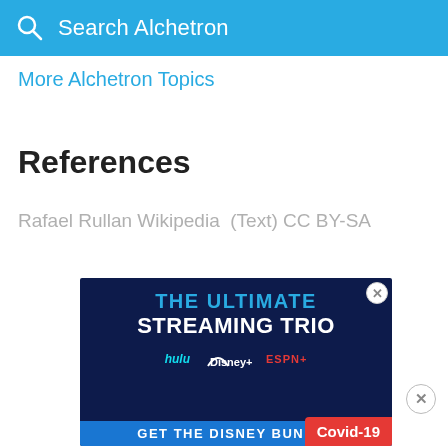Search Alchetron
More Alchetron Topics
References
Rafael Rullan Wikipedia  (Text) CC BY-SA
[Figure (screenshot): Advertisement banner: THE ULTIMATE STREAMING TRIO featuring Hulu, Disney+, and ESPN+ logos, with 'GET THE DISNEY BUNDLE' call to action on dark navy background. Covid-19 badge in red bottom right.]